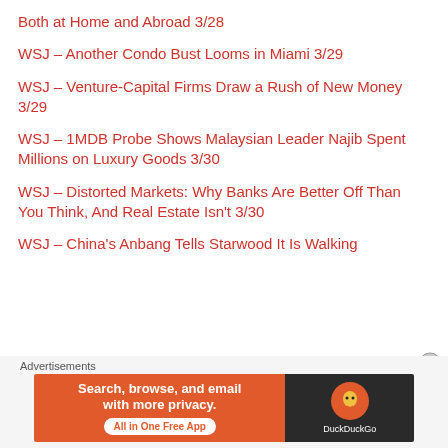Both at Home and Abroad 3/28
WSJ – Another Condo Bust Looms in Miami 3/29
WSJ – Venture-Capital Firms Draw a Rush of New Money 3/29
WSJ – 1MDB Probe Shows Malaysian Leader Najib Spent Millions on Luxury Goods 3/30
WSJ – Distorted Markets: Why Banks Are Better Off Than You Think, And Real Estate Isn't 3/30
WSJ – China's Anbang Tells Starwood It Is Walking
Advertisements
[Figure (infographic): DuckDuckGo advertisement banner: 'Search, browse, and email with more privacy. All in One Free App' with DuckDuckGo logo on dark background]